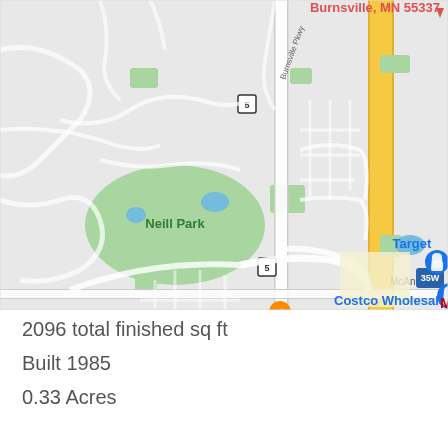[Figure (map): Google Maps view of Burnsville, MN 55337 area showing Neill Park, Costco Wholesale, Target, Outback Steakhouse, Olive Garden Italian restaurant, and highway 35W. Road network and residential streets visible.]
2096 total finished sq ft
Built 1985
0.33 Acres